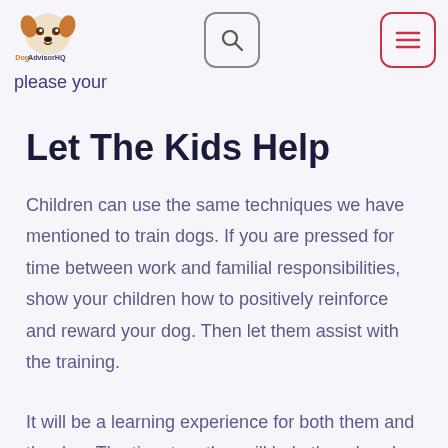DogAdvisorHQ — navigation header with logo, search button, and menu button
please your
Let The Kids Help
Children can use the same techniques we have mentioned to train dogs. If you are pressed for time between work and familial responsibilities, show your children how to positively reinforce and reward your dog. Then let them assist with the training.
It will be a learning experience for both them and the dog. The time together will help them bond while teaching your children the responsibility of owning pets. Your dog will also learn that he is expected to